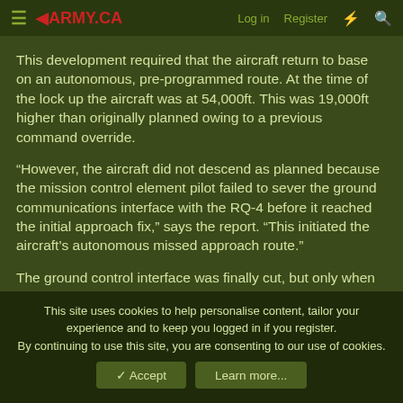≡ ◄ARMY.CA   Log in   Register   ⚡   🔍
This development required that the aircraft return to base on an autonomous, pre-programmed route. At the time of the lock up the aircraft was at 54,000ft. This was 19,000ft higher than originally planned owing to a previous command override.
“However, the aircraft did not descend as planned because the mission control element pilot failed to sever the ground communications interface with the RQ-4 before it reached the initial approach fix,” says the report. “This initiated the aircraft’s autonomous missed approach route.”
The ground control interface was finally cut, but only when the aircraft passed over its final approach fix. Subsequently a second crew comprising a pilot and instructor pilot were able to re-establish a connection with the aircraft. Their orders were to
This site uses cookies to help personalise content, tailor your experience and to keep you logged in if you register.
By continuing to use this site, you are consenting to our use of cookies.